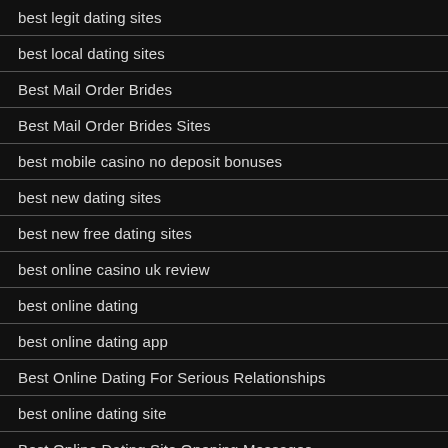best legit dating sites
best local dating sites
Best Mail Order Brides
Best Mail Order Brides Sites
best mobile casino no deposit bonuses
best new dating sites
best new free dating sites
best online casino uk review
best online dating
best online dating app
Best Online Dating For Serious Relationships
best online dating site
Best Online Dating Site Opening Messages